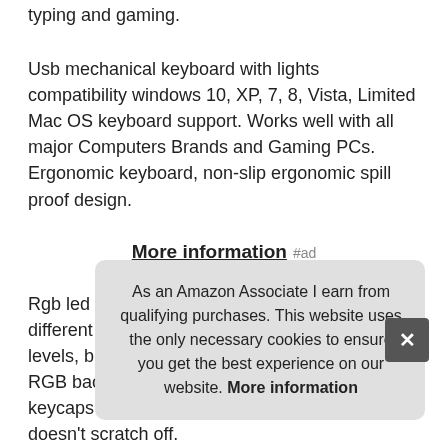typing and gaming.
Usb mechanical keyboard with lights compatibility windows 10, XP, 7, 8, Vista, Limited Mac OS keyboard support. Works well with all major Computers Brands and Gaming PCs. Ergonomic keyboard, non-slip ergonomic spill proof design.
More information #ad
Rgb led backlit mechanical gaming keyboard 5 different lighting modes, 5 backlight brightness levels, breathing speed, user programmable RGB backlighting the precision engineered keycaps offering crystal clear lettering that doesn't scratch off.
Airc... Key... with... up to tough gaming conditions. Full size with numeric keypad,
As an Amazon Associate I earn from qualifying purchases. This website uses the only necessary cookies to ensure you get the best experience on our website. More information